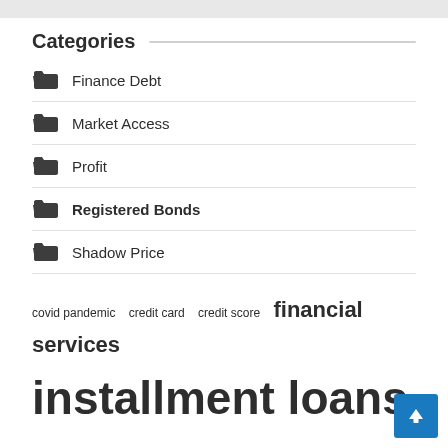Categories
Finance Debt
Market Access
Profit
Registered Bonds
Shadow Price
covid pandemic  credit card  credit score  financial services  installment loans  interest rates  long term  market access  market capitalization  real estate  short term  supply chain  thomson reuters